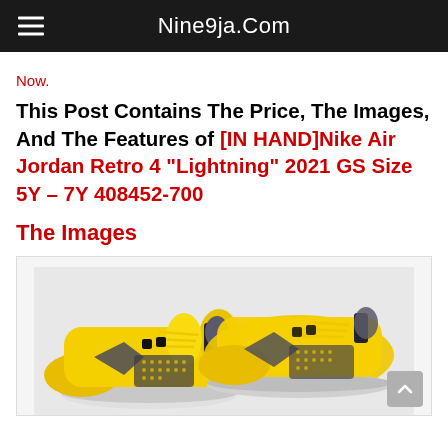Nine9ja.Com
Now.
This Post Contains The Price, The Images, And The Features of [IN HAND]Nike Air Jordan Retro 4 "Lightning" 2021 GS Size 5Y – 7Y 408452-700
The Images
[Figure (photo): Nike Air Jordan Retro 4 Lightning sneakers in yellow/gold colorway with dark grey and black accents, shown as a pair from a side angle]